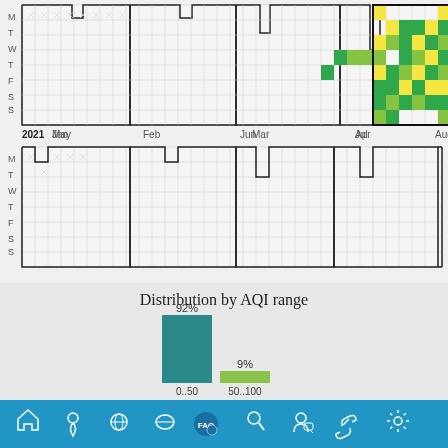[Figure (other): Calendar heatmap showing AQI data for 2021 Jan through Aug (top row) with colored cells in Jun-Aug range showing green and yellow AQI values, and a second calendar row below showing mostly empty months]
[Figure (bar-chart): Distribution by AQI range]
Navigation bar with home, location, globe, mask, FAQ, search, user, link, settings icons